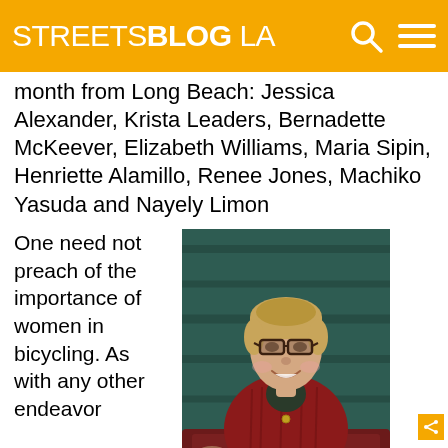STREETSBLOG LA
month from Long Beach: Jessica Alexander, Krista Leaders, Bernadette McKeever, Elizabeth Williams, Maria Sipin, Henriette Alamillo, Renee Jones, Machiko Yasuda and Nayely Limon
One need not preach of the importance of women in bicycling. As with any other endeavor
[Figure (photo): Portrait photo of Melissa Balmer, a woman with short blonde hair and glasses, wearing a red corduroy jacket over a dark turtleneck, sitting and smiling against a dark wooden background.]
Melissa Balmer Photo: Frank Peters/Women on Bikes So. Cal